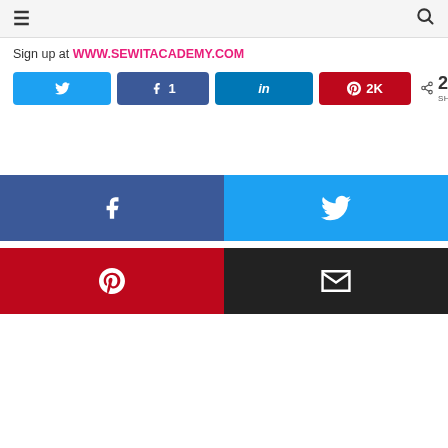☰ [menu] [search]
Sign up at WWW.SEWITACADEMY.COM
[Figure (screenshot): Social share buttons row: Twitter, Facebook (1), LinkedIn, Pinterest (2K), and share count 2K SHARES]
[Figure (screenshot): Large social share buttons grid: Facebook (f), Twitter bird, Pinterest (P), Email (envelope)]